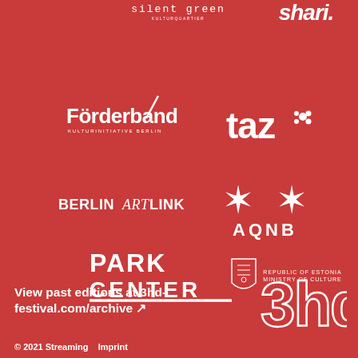[Figure (logo): silent green Kulturquartier logo in white]
[Figure (logo): Partial chart/shari logo text cut off at top right]
[Figure (logo): Förderband Kulturinitiative Berlin logo with diagonal slash]
[Figure (logo): taz with paw print logo]
[Figure (logo): BerlinArtLink logo]
[Figure (logo): AQNB with two asterisks/stars logo]
[Figure (logo): PARK CENTER logo]
[Figure (logo): Republic of Estonia Ministry of Culture logo with shield]
View past editions at 3hd-festival.com/archive ↗
[Figure (logo): 3hd festival logo in outline style]
© 2021 Streaming   Imprint